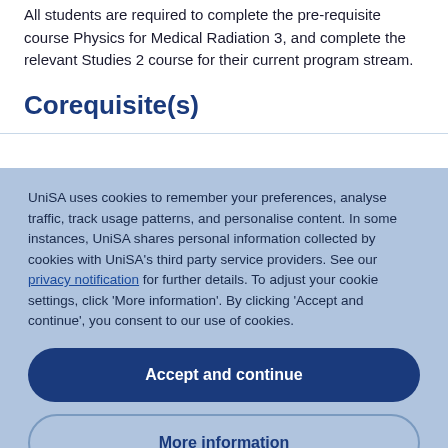All students are required to complete the pre-requisite course Physics for Medical Radiation 3, and complete the relevant Studies 2 course for their current program stream.
Corequisite(s)
UniSA uses cookies to remember your preferences, analyse traffic, track usage patterns, and personalise content. In some instances, UniSA shares personal information collected by cookies with UniSA's third party service providers. See our privacy notification for further details. To adjust your cookie settings, click 'More information'. By clicking 'Accept and continue', you consent to our use of cookies.
Accept and continue
More information